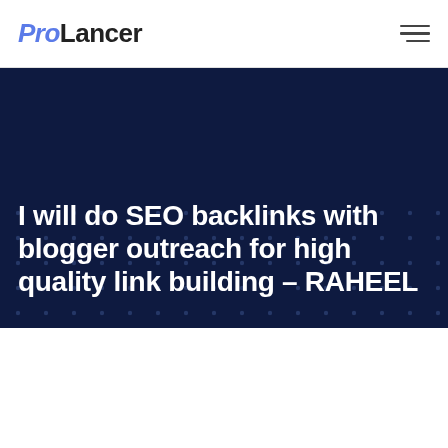ProLancer
I will do SEO backlinks with blogger outreach for high quality link building - RAHEEL
[Figure (screenshot): Dark navy hero banner with dot grid pattern background]